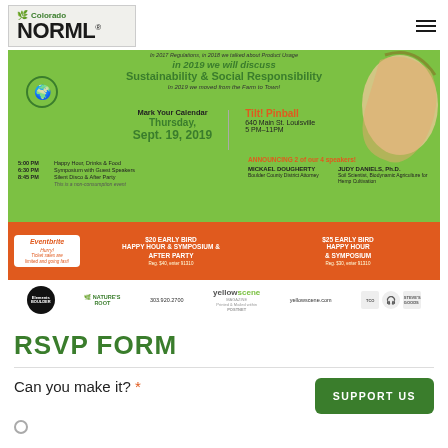Colorado NORML
[Figure (infographic): Colorado NORML Symposium 2019 event flyer. Green background. Text: in 2019 we will discuss Sustainability & Social Responsibility. Thursday Sept. 19, 2019. Tilt! Pinball, 640 Main St. Louisville, 5PM-11PM. Schedule: 5:00 PM Happy Hour Drinks & Food, 6:30 PM Symposium with Guest Speakers, 8:45 PM Silent Disco & After Party. Announcing 2 of 4 speakers: Mickael Dougherty (Boulder County District Attorney), Judy Daniels Ph.D. Eventbrite ticket sales. Sponsors: Elements, Nature's Root, Yellow Scene Magazine, PostNet, and others.]
RSVP FORM
Can you make it? *